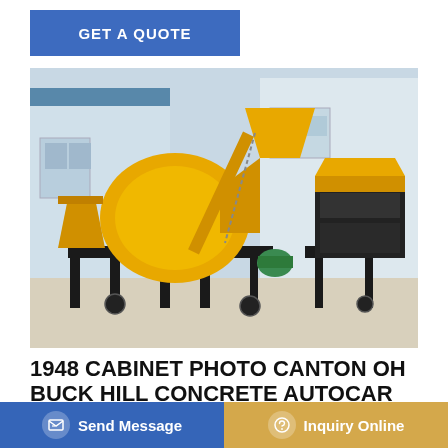GET A QUOTE
[Figure (photo): Yellow concrete mixer machine / concrete batching plant on a black metal frame, parked on a paved surface with a building in the background. The mixer has a large yellow drum and a yellow hopper/conveyor. A separate yellow generator or pump unit is on the right side.]
1948 CABINET PHOTO CANTON OH BUCK HILL CONCRETE AUTOCAR
Apr 28, 2017 - 1948 CABINET PHOTO CANTON OH BUCK ... R TRU... ...ay!
Send Message   Inquiry Online